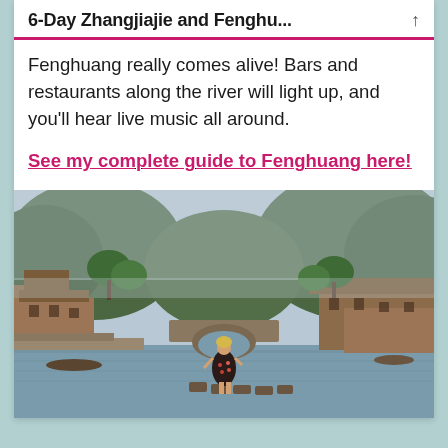6-Day Zhangjiajie and Fenghu...
Fenghuang really comes alive! Bars and restaurants along the river will light up, and you'll hear live music all around.
See my complete guide to Fenghuang here!
[Figure (photo): A woman in a floral dress standing on stepping stones in a river in Fenghuang ancient town, with traditional wooden buildings on both sides, a stone arch bridge, and lush green mountains in the background under an overcast sky.]